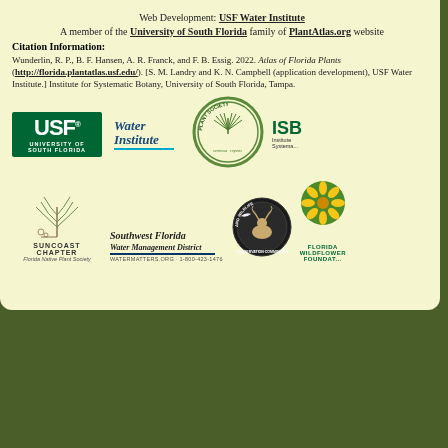Web Development: USF Water Institute
A member of the University of South Florida family of PlantAtlas.org websites
Citation Information:
Wunderlin, R. P., B. F. Hansen, A. R. Franck, and F. B. Essig. 2022. Atlas of Florida Plants (http://florida.plantatlas.usf.edu/). [S. M. Landry and K. N. Campbell (application development), USF Water Institute.] Institute for Systematic Botany, University of South Florida, Tampa.
[Figure (logo): USF University of South Florida logo (green background, white text)]
[Figure (logo): Water Institute logo with wave underline]
[Figure (logo): Florida Native Plant Society circular logo with serenoa repens plant]
[Figure (logo): ISB Institute for Systematic Botany logo (partial)]
[Figure (illustration): Suncoast Chapter Florida Native Plant Society with botanical sketch]
[Figure (logo): Southwest Florida Water Management District logo with watermatters.org]
[Figure (logo): Florida Fish and Wildlife Conservation Commission circular logo]
[Figure (logo): Florida Wildflower Foundation logo (partial, green circle with flower)]